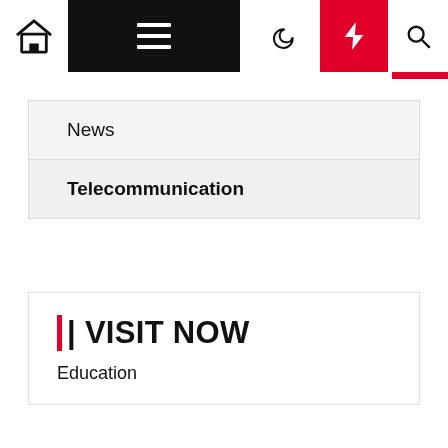Navigation bar with home, menu, moon, flash, and search icons
News
Telecommunication
|| VISIT NOW
Education